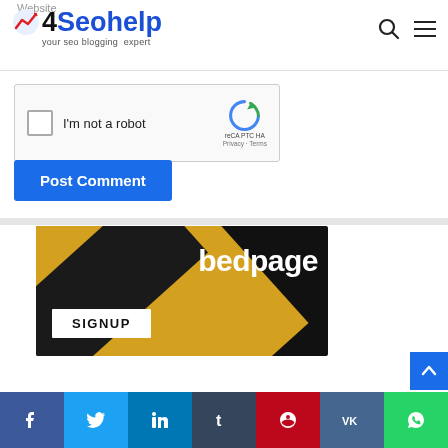4SeoHelp - your seo blogging expert
Website
[Figure (other): reCAPTCHA widget with checkbox 'I'm not a robot' and reCAPTCHA logo]
Post Comment
[Figure (other): Bedpage banner ad with black background, yellow diagonal stripe, 'bedpage' text and SIGNUP button]
Social share buttons: Facebook, Twitter, LinkedIn, Tumblr, Pinterest, VK, WhatsApp